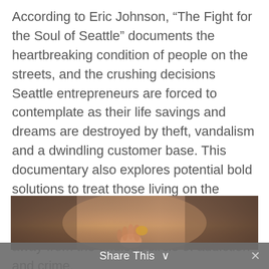According to Eric Johnson, “The Fight for the Soul of Seattle” documents the heartbreaking condition of people on the streets, and the crushing decisions Seattle entrepreneurs are forced to contemplate as their life savings and dreams are destroyed by theft, vandalism and a dwindling customer base. This documentary also explores potential bold solutions to treat those living on the streets and pair them with agencies and assistance that can provide a clear path away from the endless circle of addiction and crime.
[Figure (photo): A dark, warm-toned photograph showing what appears to be a person’s hand reaching outward, with blurred background figures and warm brown/amber tones.]
Share This ∨